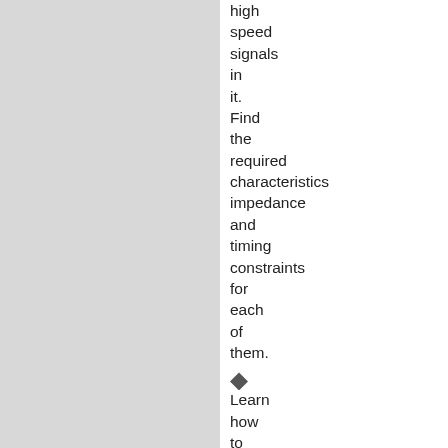high speed signals in it. Find the required characteristics impedance and timing constraints for each of them.
Learn how to calculate characteristic impedance.